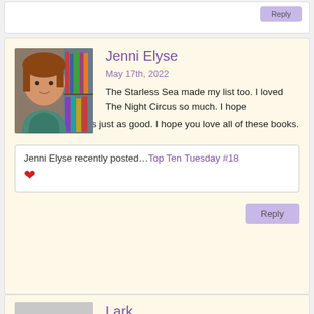[Figure (other): Partial top of a previous comment block with a Reply button visible]
Jenni Elyse
May 17th, 2022
The Starless Sea made my list too. I loved The Night Circus so much. I hope The Starless Sea is just as good. I hope you love all of these books.
Jenni Elyse recently posted…Top Ten Tuesday #18
Lark
May 17th, 2022